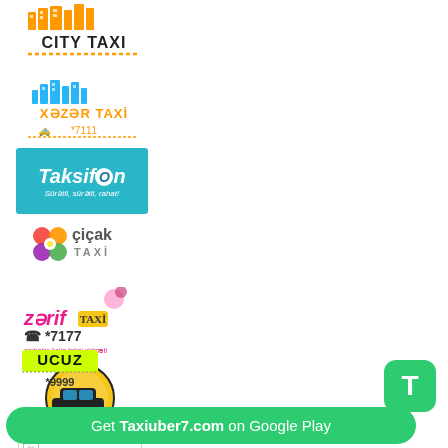[Figure (logo): City Taxi logo with orange building/taxi icons and dashed underline]
[Figure (logo): Xəzər Taxi logo with blue city skyline icon and orange text]
[Figure (logo): Taksifon logo on turquoise/teal background with italic white text and tagline]
[Figure (logo): Çiçak Taxi logo with colorful flower petals and grey text]
[Figure (logo): Zərif Taxi logo with pink text and *7177 number and small tagline]
[Figure (logo): Yellow circular taxi car logo]
[Figure (logo): Broken image placeholder box]
[Figure (logo): Ucuz Taxi logo with yellow-green badge and *9999 number]
[Figure (logo): Green rounded square T button]
Get Taxiuber7.com on Google Play